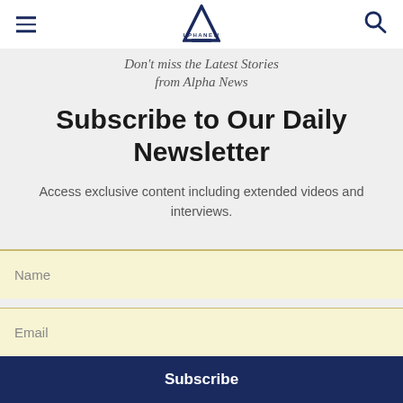Alpha News
Don't miss the Latest Stories from Alpha News
Subscribe to Our Daily Newsletter
Access exclusive content including extended videos and interviews.
Name
Email
Subscribe